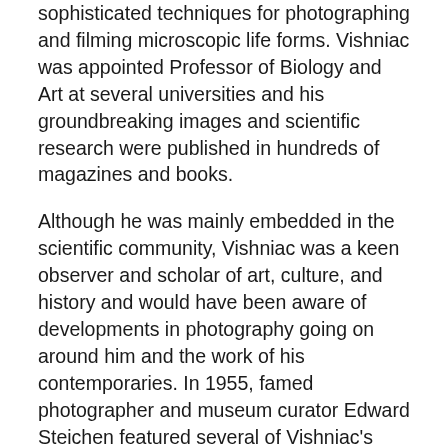sophisticated techniques for photographing and filming microscopic life forms. Vishniac was appointed Professor of Biology and Art at several universities and his groundbreaking images and scientific research were published in hundreds of magazines and books.
Although he was mainly embedded in the scientific community, Vishniac was a keen observer and scholar of art, culture, and history and would have been aware of developments in photography going on around him and the work of his contemporaries. In 1955, famed photographer and museum curator Edward Steichen featured several of Vishniac's photographs in the influential book and travelling exhibition The Family of Man shown at the Museum of Modern Art. Steichen later describes the importance of Vishniac's work. “[He]… gives a last minute look at the human beings he photographed